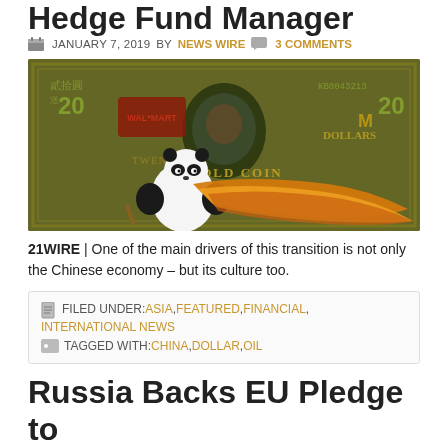Hedge Fund Manager
JANUARY 7, 2019 BY NEWS WIRE  3 COMMENTS
[Figure (photo): Illustration of a panda character in a golden cape leaping in front of a large decorative currency note with Chinese and American iconography]
21WIRE | One of the main drivers of this transition is not only the Chinese economy – but its culture too.
FILED UNDER: ASIA, FEATURED, FINANCIAL, INTERNATIONAL NEWS  TAGGED WITH: CHINA, DOLLAR, OIL
Russia Backs EU Pledge to